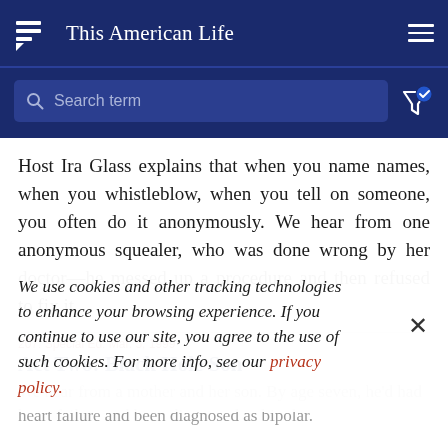This American Life
[Figure (screenshot): Search bar with placeholder 'Search term' and filter icon with checkmark]
Host Ira Glass explains that when you name names, when you whistleblow, when you tell on someone, you often do it anonymously. We hear from one anonymous squealer, who was done wrong by her doctor—he messed up a procedure and then refused to fix it.
We use cookies and other tracking technologies to enhance your browsing experience. If you continue to use our site, you agree to the use of such cookies. For more info, see our privacy policy.
Act Two: Black Hole Son
We hear from a mother and her son. By age seven, he'd had heart failure and been diagnosed as bipolar.